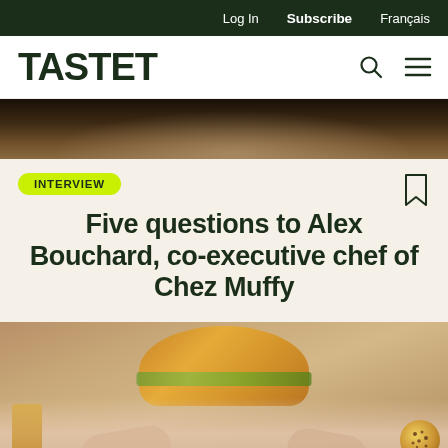Log In   Subscribe   Français
TASTET
[Figure (photo): Partial photo of a chef in white uniform at the top of the page]
INTERVIEW
Five questions to Alex Bouchard, co-executive chef of Chez Muffy
[Figure (photo): Photo of hands holding a sandwich/baguette at a dining table, with a drink visible on the left side]